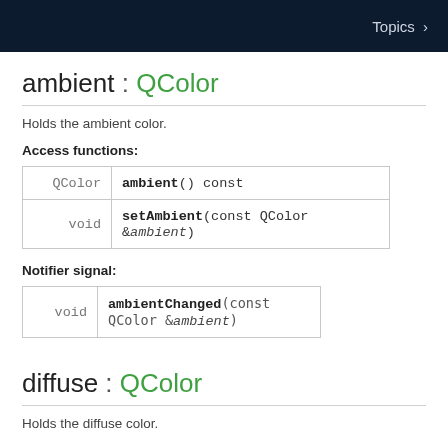Topics >
ambient : QColor
Holds the ambient color.
Access functions:
|  |  |
| --- | --- |
| QColor | ambient() const |
| void | setAmbient(const QColor &ambient) |
Notifier signal:
|  |  |
| --- | --- |
| void | ambientChanged(const QColor &ambient) |
diffuse : QColor
Holds the diffuse color.